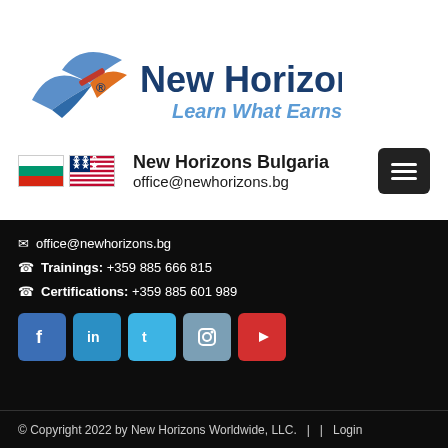[Figure (logo): New Horizons logo with stylized wings/flag icon in blue and orange, company name 'New Horizons' in dark blue bold, tagline 'Learn What Earns' in light blue italic]
New Horizons Bulgaria
office@newhorizons.bg
✉ office@newhorizons.bg
☎ Trainings: +359 885 666 815
☎ Certifications: +359 885 601 989
[Figure (infographic): Row of social media icons: Facebook (blue), LinkedIn (blue), Twitter (light blue), Instagram (grey-blue), YouTube (red)]
© Copyright 2022 by New Horizons Worldwide, LLC.  |  |  Login